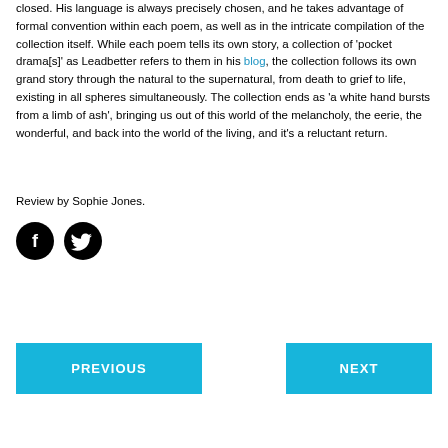closed. His language is always precisely chosen, and he takes advantage of formal convention within each poem, as well as in the intricate compilation of the collection itself. While each poem tells its own story, a collection of 'pocket drama[s]' as Leadbetter refers to them in his blog, the collection follows its own grand story through the natural to the supernatural, from death to grief to life, existing in all spheres simultaneously. The collection ends as 'a white hand bursts from a limb of ash', bringing us out of this world of the melancholy, the eerie, the wonderful, and back into the world of the living, and it's a reluctant return.
Review by Sophie Jones.
[Figure (illustration): Facebook and Twitter social media icon buttons in black circles]
PREVIOUS
NEXT